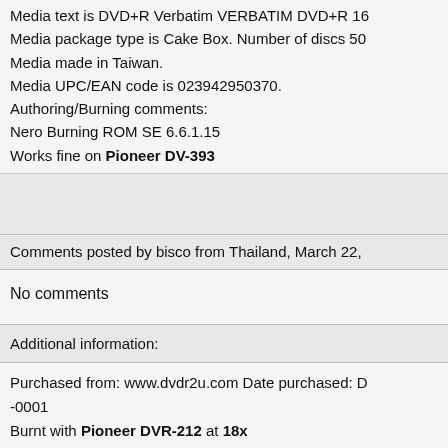Media text is DVD+R Verbatim VERBATIM DVD+R 16x. Media package type is Cake Box. Number of discs 50. Media made in Taiwan. Media UPC/EAN code is 023942950370. Authoring/Burning comments: Nero Burning ROM SE 6.6.1.15 Works fine on Pioneer DV-393
Comments posted by bisco from Thailand, March 22,
No comments
Additional information:
Purchased from: www.dvdr2u.com Date purchased: D-0001 Burnt with Pioneer DVR-212 at 18x Burning reliability is Good. PC reliability is Good.